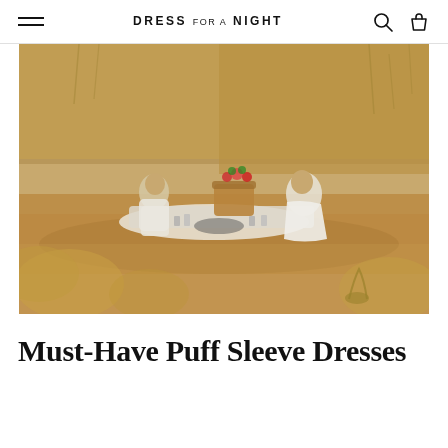DRESS FOR A NIGHT
[Figure (photo): Couple having a picnic on sandy beach dunes. Man in white shirt and grey pants, woman in white dress, sitting on a white blanket with a wicker basket decorated with flowers, glasses and items on the blanket. Dry golden grass in the background.]
Must-Have Puff Sleeve Dresses